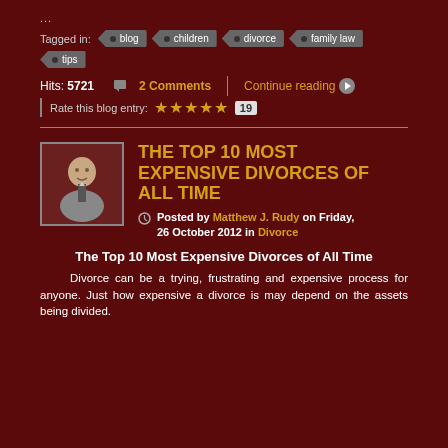...
Tagged in:  blog  children  divorce  family law  tips
Hits: 5721   2 Comments   Continue reading   Rate this blog entry: ★★★★★ 19
THE TOP 10 MOST EXPENSIVE DIVORCES OF ALL TIME
Posted by Matthew J. Rudy on Friday, 26 October 2012 in Divorce
The Top 10 Most Expensive Divorces of All Time
Divorce can be a trying, frustrating and expensive process for anyone. Just how expensive a divorce is may depend on the assets being divided.